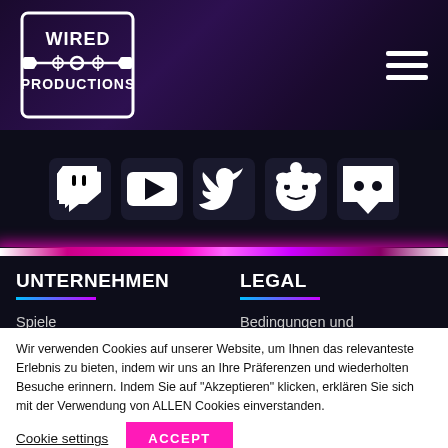Wired Productions
[Figure (logo): Wired Productions logo - white text on dark background with circuit board design]
[Figure (infographic): Social media icons row: Twitch, YouTube, Twitter, Reddit, Discord]
UNTERNEHMEN
LEGAL
Spiele
Bedingungen und Konditionen
Wir verwenden Cookies auf unserer Website, um Ihnen das relevanteste Erlebnis zu bieten, indem wir uns an Ihre Präferenzen und wiederholten Besuche erinnern. Indem Sie auf "Akzeptieren" klicken, erklären Sie sich mit der Verwendung von ALLEN Cookies einverstanden.
Cookie settings | ACCEPT